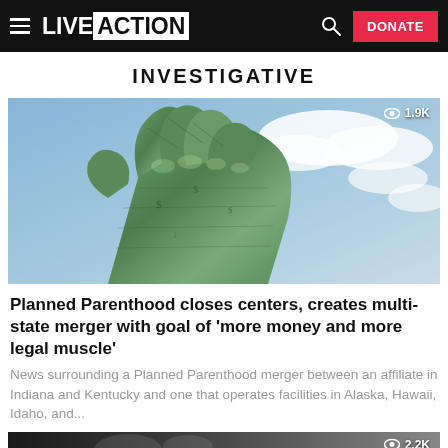LIVE ACTION — DONATE
INVESTIGATIVE
[Figure (photo): A fist wrapped in US dollar bills against a blue sky with clouds, representing money and power]
Planned Parenthood closes centers, creates multi-state merger with goal of 'more money and more legal muscle'
News surrounding a Planned Parenthood merger between an affiliate in Indiana and Kentucky and one that operates facilities in Alaska, Hawaii, Idaho, and...
[Figure (photo): Partially visible image at bottom of page, dark tones showing blurred figures]